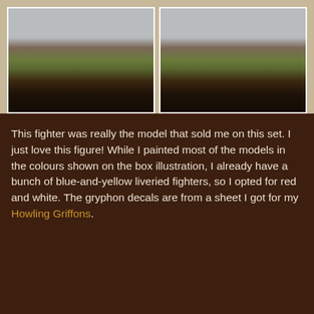[Figure (photo): Two side-by-side photos of a painted miniature fighter figure with red and white livery, standing on a round base decorated with grass tufts and dirt texture. The figure is shown from slightly different angles in each photo.]
This fighter was really the model that sold me on this set. I just love this figure! While I painted most of the models in the colours shown on the box illustration, I already have a bunch of blue-and-yellow liveried fighters, so I opted for red and white. The gryphon decals are from a sheet I got for my Howling Griffons.